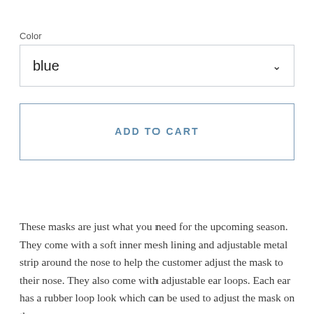Color
blue
ADD TO CART
These masks are just what you need for the upcoming season. They come with a soft inner mesh lining and adjustable metal strip around the nose to help the customer adjust the mask to their nose. They also come with adjustable ear loops. Each ear has a rubber loop look which can be used to adjust the mask on the